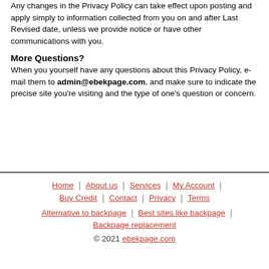Any changes in the Privacy Policy can take effect upon posting and apply simply to information collected from you on and after Last Revised date, unless we provide notice or have other communications with you.
More Questions?
When you yourself have any questions about this Privacy Policy, e-mail them to admin@ebekpage.com, and make sure to indicate the precise site you're visiting and the type of one's question or concern.
Home | About us | Services | My Account | Buy Credit | Contact | Privacy | Terms | Alternative to backpage | Best sites like backpage | Backpage replacement © 2021 ebekpage.com